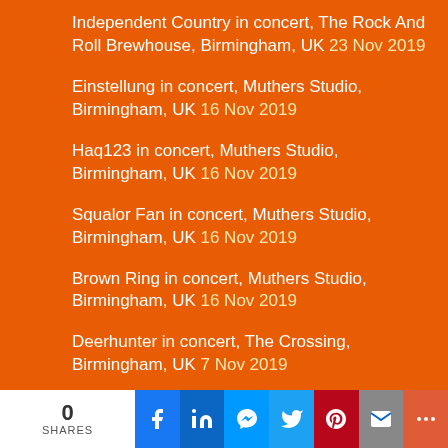Independent Country in concert, The Rock And Roll Brewhouse, Birmingham, UK 23 Nov 2019
Einstellung in concert, Muthers Studio, Birmingham, UK 16 Nov 2019
Haq123 in concert, Muthers Studio, Birmingham, UK 16 Nov 2019
Squalor Fan in concert, Muthers Studio, Birmingham, UK 16 Nov 2019
Brown Ring in concert, Muthers Studio, Birmingham, UK 16 Nov 2019
Deerhunter in concert, The Crossing, Birmingham, UK 7 Nov 2019
Cate Le Bon in concert, The Crossing, Birmingham, UK 7 Nov 2019
The Common in concert, The Cuban Embassy – Bulls Head, Birmingham, UK 31 Oct 2019
Liars At The Witch Trial in concert, The Cuban Embassy – Bulls Head, Birmingham, UK 31 Oct 2019
0 SHARES (social share bar)